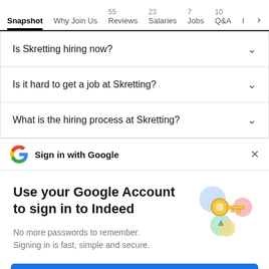Snapshot | Why Join Us | 55 Reviews | 23 Salaries | 7 Jobs | 10 Q&A | I >
Is Skretting hiring now?
Is it hard to get a job at Skretting?
What is the hiring process at Skretting?
Sign in with Google
Use your Google Account to sign in to Indeed
No more passwords to remember. Signing in is fast, simple and secure.
Continue